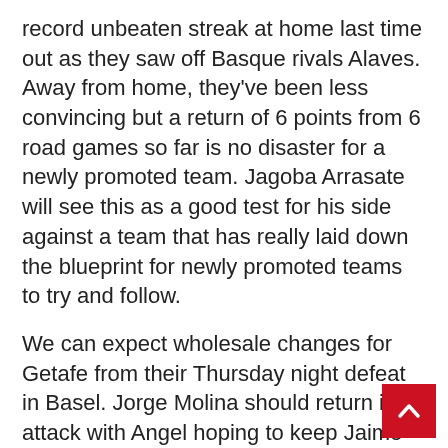record unbeaten streak at home last time out as they saw off Basque rivals Alaves. Away from home, they've been less convincing but a return of 6 points from 6 road games so far is no disaster for a newly promoted team. Jagoba Arrasate will see this as a good test for his side against a team that has really laid down the blueprint for newly promoted teams to try and follow.
We can expect wholesale changes for Getafe from their Thursday night defeat in Basel. Jorge Molina should return in attack with Angel hoping to keep Jaime Mata out of the team. The likes of Marc Cucurella and Mauro Arambarri should also return. The visitors meanwhile are hampered by a suspension to forward Chimy Avila who scored another fine goal in the win last weekend but also collected his 5th booking of the season.